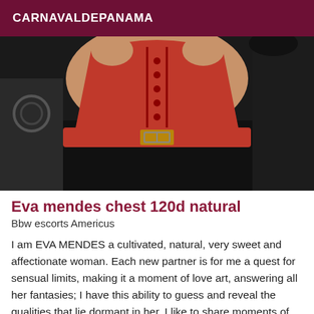CARNAVALDEPANAMA
[Figure (photo): Close-up photo of a person wearing a red lace-up corset top and a wide red belt with a gold buckle over a black outfit.]
Eva mendes chest 120d natural
Bbw escorts Americus
I am EVA MENDES a cultivated, natural, very sweet and affectionate woman. Each new partner is for me a quest for sensual limits, making it a moment of love art, answering all her fantasies; I have this ability to guess and reveal the qualities that lie dormant in her. I like to share moments of complicity in discretion, hygiene and